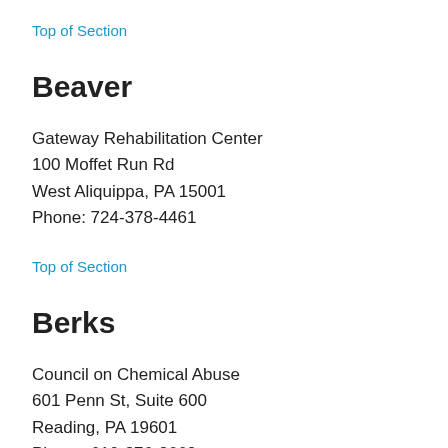Top of Section
Beaver
Gateway Rehabilitation Center
100 Moffet Run Rd
West Aliquippa, PA 15001
Phone: 724-378-4461
Top of Section
Berks
Council on Chemical Abuse
601 Penn St, Suite 600
Reading, PA 19601
Phone: 610-376-8669